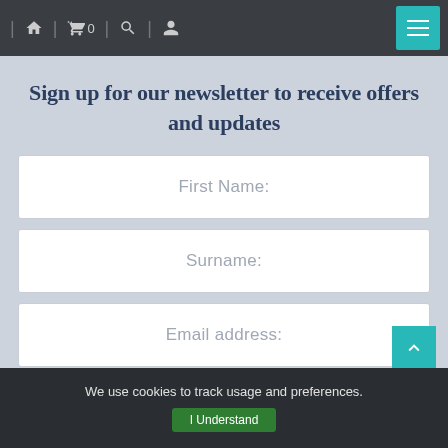Navigation bar with home, cart (0), search, user icons, and hamburger menu
Sign up for our newsletter to receive offers and updates
First Name:
Surname:
Email address:
SIGN UP
We use cookies to track usage and preferences. I Understand